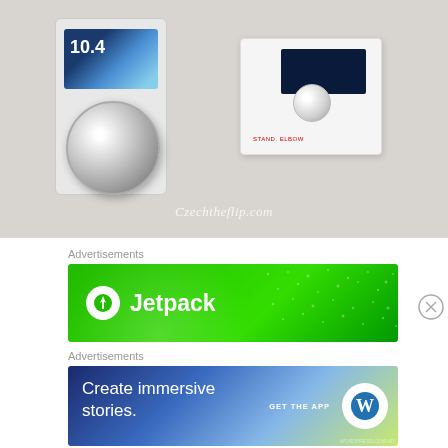[Figure (photo): Two wall thermostats mounted on a light gray wall. Left thermostat is a modern Siemens-style unit with a blue digital display showing '10.4' and a large chrome rotary knob. Right thermostat is a white rectangular unit with a dark screen and small round knob, branded with red text.]
Czechtheflip.com
Advertisements
[Figure (illustration): Jetpack advertisement banner — green gradient background with white dot pattern and circular highlight. White circle icon with lightning bolt, followed by 'Jetpack' text in white bold font.]
Advertisements
[Figure (illustration): WordPress app advertisement — gradient background from dark blue to green/yellow. Text reads 'Create immersive stories.' with 'GET THE APP' call to action and WordPress logo.]